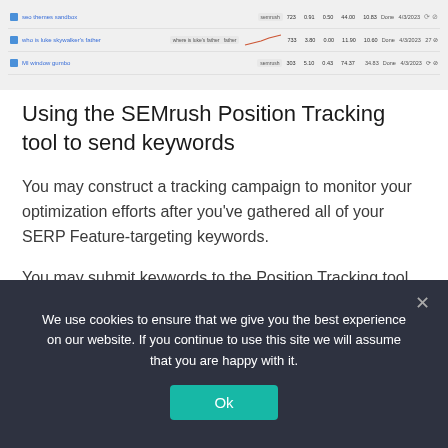[Figure (screenshot): Screenshot of SEMrush Position Tracking tool showing keyword rows with columns for keyword, tag, position data, volume, dates, and action icons. Includes a small rising line chart in the second row.]
Using the SEMrush Position Tracking tool to send keywords
You may construct a tracking campaign to monitor your optimization efforts after you've gathered all of your SERP Feature-targeting keywords.
You may submit keywords to the Position Tracking tool automatically from Keyword Manager by clicking the “Send to other tools” button and choosing Position Tracking (you need to set up a
We use cookies to ensure that we give you the best experience on our website. If you continue to use this site we will assume that you are happy with it.